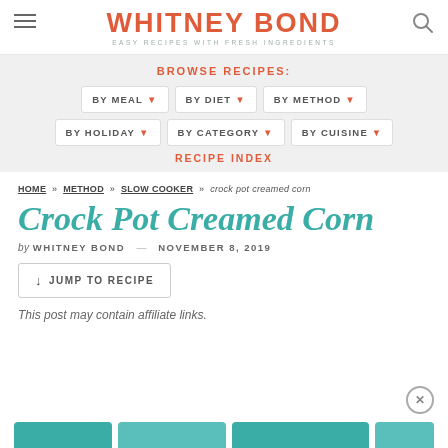WHITNEY BOND — EASY RECIPES WITH FRESH INGREDIENTS
BROWSE RECIPES:
BY MEAL ▾
BY DIET ▾
BY METHOD ▾
BY HOLIDAY ▾
BY CATEGORY ▾
BY CUISINE ▾
RECIPE INDEX
HOME » METHOD » SLOW COOKER » crock pot creamed corn
Crock Pot Creamed Corn
by WHITNEY BOND   NOVEMBER 8, 2019
↓ JUMP TO RECIPE
This post may contain affiliate links.